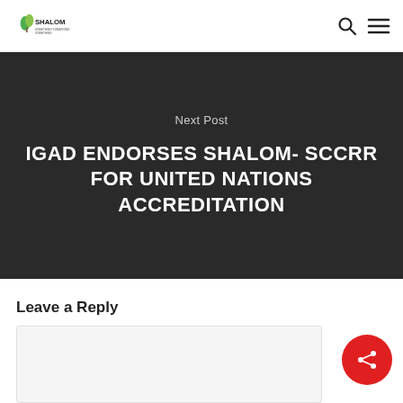[Figure (logo): Shalom SCCRR logo with tree graphic and text]
Next Post
IGAD ENDORSES SHALOM- SCCRR FOR UNITED NATIONS ACCREDITATION
Leave a Reply
[Figure (other): Comment text area input box (empty)]
[Figure (other): Red circular share button with share icon]